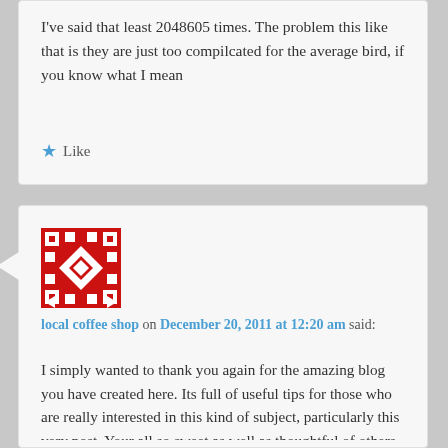I've said that least 2048605 times. The problem this like that is they are just too compilcated for the average bird, if you know what I mean
★ Like
[Figure (illustration): Avatar image with red and white geometric diamond/checkerboard pattern]
local coffee shop on December 20, 2011 at 12:20 am said:
I simply wanted to thank you again for the amazing blog you have created here. Its full of useful tips for those who are really interested in this kind of subject, particularly this very post. Your all so sweet as well as thoughtful of others and reading your blog posts is a superb delight with me. And what a generous present! Ron and I